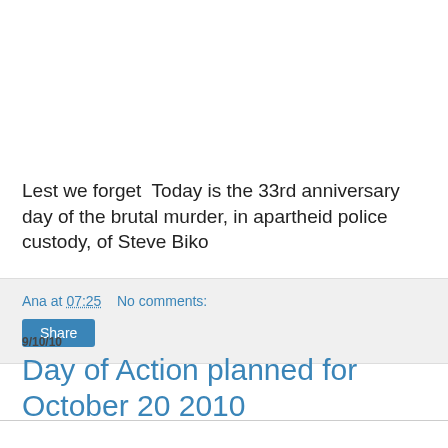Lest we forget  Today is the 33rd anniversary day of the brutal murder, in apartheid police custody, of Steve Biko
Ana at 07:25    No comments:
9/10/10
Day of Action planned for October 20 2010
The Meeting...